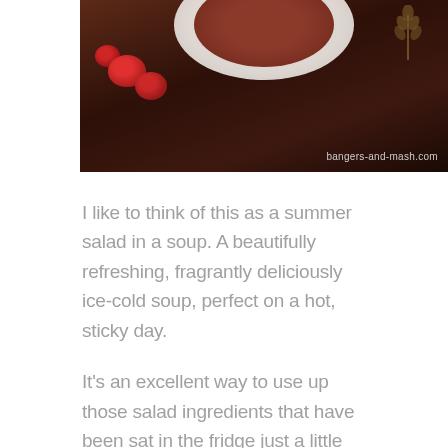[Figure (photo): Food photo showing a bowl of cold soup with tomatoes and wheat stalks on a dark wooden surface. Watermark reads 'bangers-and-mash.com'.]
I like to think of this as a summer salad in a soup. A beautifully refreshing, fragrantly deliciously ice-cold soup, perfect on a hot, sticky day.
It's an excellent way to use up those salad ingredients that have been sat in the fridge just a little too long. I always seem to be over ambitious when I buy salad stuff. Ideally you should buy your salad the day you're going to eat it – ideally from a fabulous farmer's